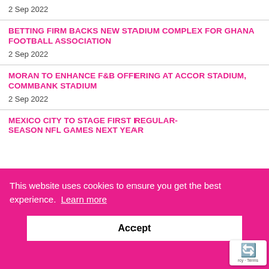2 Sep 2022
BETTING FIRM BACKS NEW STADIUM COMPLEX FOR GHANA FOOTBALL ASSOCIATION
2 Sep 2022
MORAN TO ENHANCE F&B OFFERING AT ACCOR STADIUM, COMMBANK STADIUM
2 Sep 2022
MEXICO CITY TO STAGE FIRST REGULAR-SEASON NFL GAMES NEXT YEAR
This website uses cookies to ensure you get the best experience. Learn more
Accept
ATLETICO MINEIRO SEEKS FURTHER